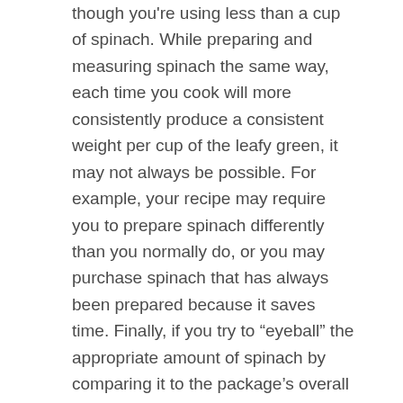though you're using less than a cup of spinach. While preparing and measuring spinach the same way, each time you cook will more consistently produce a consistent weight per cup of the leafy green, it may not always be possible. For example, your recipe may require you to prepare spinach differently than you normally do, or you may purchase spinach that has always been prepared because it saves time. Finally, if you try to “eyeball” the appropriate amount of spinach by comparing it to the package’s overall weight or size, you’re likely to misestimate. If you only need a cup of spinach for your recipes, look for packages between 1and 1.5 ounces.
How You Can Determine the Exact Weight of Spinach
When you cannot buy a small enough quantity of spinach when you need only a cup, or when you